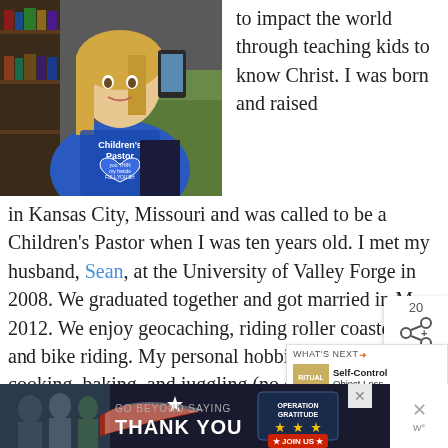[Figure (photo): Woman wearing a blue Children's Pastor t-shirt with text on it, taking a selfie in front of bookshelves]
to impact the world through teaching kids to know Christ. I was born and raised in Kansas City, Missouri and was called to be a Children's Pastor when I was ten years old. I met my husband, Sean, at the University of Valley Forge in 2008. We graduated together and got married in May 2012. We enjoy geocaching, riding roller coasters, and bike riding. My personal hobbies include cooking, baking, and juggling (no chainsaws... yet). S... reside in the Phoenix, Arizona area where I serve as the Chil...
[Figure (infographic): Advertisement banner: GO BEYOND SAYING THANK YOU - Operation Gratitude JOIN US]
[Figure (infographic): What's Next overlay showing Self-Control Object Less... with share button showing 20]